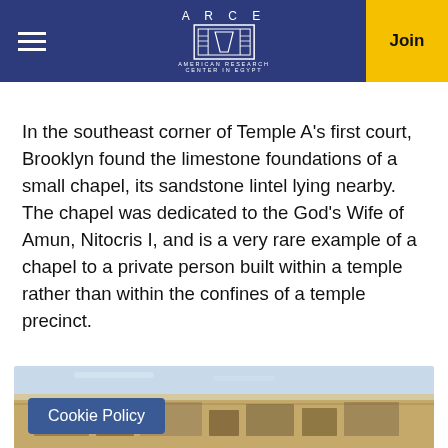ARCE — American Research Center in Egypt — navigation header with Join button
In the southeast corner of Temple A's first court, Brooklyn found the limestone foundations of a small chapel, its sandstone lintel lying nearby. The chapel was dedicated to the God's Wife of Amun, Nitocris I, and is a very rare example of a chapel to a private person built within a temple rather than within the confines of a temple precinct.
[Figure (photo): Photograph of ancient Egyptian stone ruins in desert landscape with sky in background; cookie policy banner overlay]
Cookie Policy